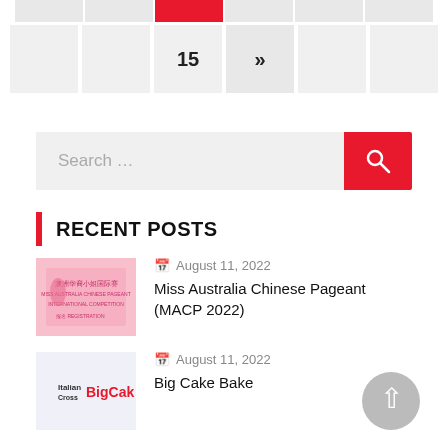[Figure (screenshot): Partial pagination bar at top of page with numbered cells, one highlighted in red, and navigation arrows. Shows cell '15' and '>>' next arrow.]
[Figure (screenshot): Search bar with light gray input field reading 'Search ...' and a red button with magnifying glass icon on the right.]
RECENT POSTS
[Figure (screenshot): Thumbnail image for Miss Australia Chinese Pageant post - pink/red toned image with Chinese text]
August 11, 2022
Miss Australia Chinese Pageant (MACP 2022)
[Figure (logo): Big Cake Bake logo thumbnail - Italian Cross BigCake branding]
August 11, 2022
Big Cake Bake